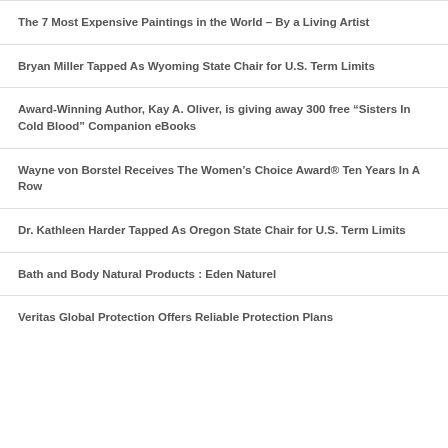The 7 Most Expensive Paintings in the World – By a Living Artist
Bryan Miller Tapped As Wyoming State Chair for U.S. Term Limits
Award-Winning Author, Kay A. Oliver, is giving away 300 free “Sisters In Cold Blood” Companion eBooks
Wayne von Borstel Receives The Women’s Choice Award® Ten Years In A Row
Dr. Kathleen Harder Tapped As Oregon State Chair for U.S. Term Limits
Bath and Body Natural Products : Eden Naturel
Veritas Global Protection Offers Reliable Protection Plans